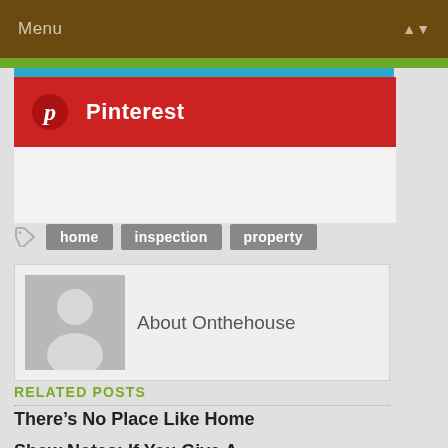Menu
[Figure (screenshot): Pinterest social share button — red background with Pinterest 'p' icon and label 'Pinterest']
home
inspection
property
About Onthehouse
RELATED POSTS
There’s No Place Like Home
Show Notes: If You Give A Goldfish A Flush...